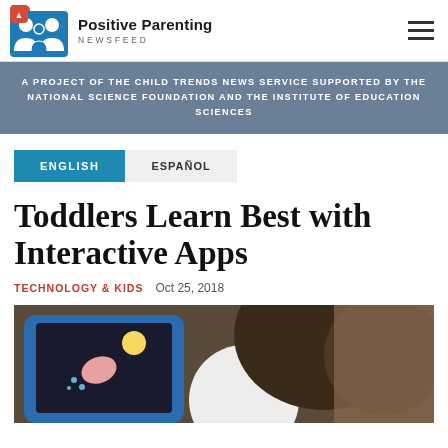Positive Parenting NEWSFEED
A PROJECT OF THE CHILD TRENDS NEWS SERVICE SUPPORTED BY THE NATIONAL SCIENCE FOUNDATION AND THE INSTITUTE OF EDUCATION SCIENCES
ENGLISH | ESPAÑOL
Toddlers Learn Best with Interactive Apps
TECHNOLOGY & KIDS  Oct 25, 2018
[Figure (photo): Child seen from behind looking at a tablet with a blue case displaying a colorful app]